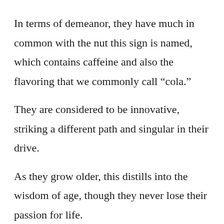In terms of demeanor, they have much in common with the nut this sign is named, which contains caffeine and also the flavoring that we commonly call “cola.”
They are considered to be innovative, striking a different path and singular in their drive.
As they grow older, this distills into the wisdom of age, though they never lose their passion for life.
Traveler: 4th September – 3rd October